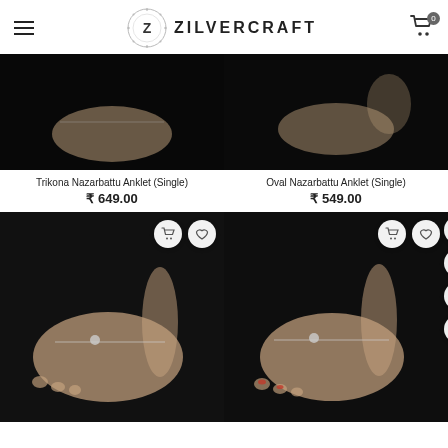ZILVERCRAFT
[Figure (photo): Trikona Nazarbattu Anklet (Single) product photo on dark background]
Trikona Nazarbattu Anklet (Single)
₹ 649.00
[Figure (photo): Oval Nazarbattu Anklet (Single) product photo on dark background]
Oval Nazarbattu Anklet (Single)
₹ 549.00
[Figure (photo): Anklet product photo showing foot with silver anklet on black background]
[Figure (photo): Anklet product photo showing foot with silver anklet on black background]